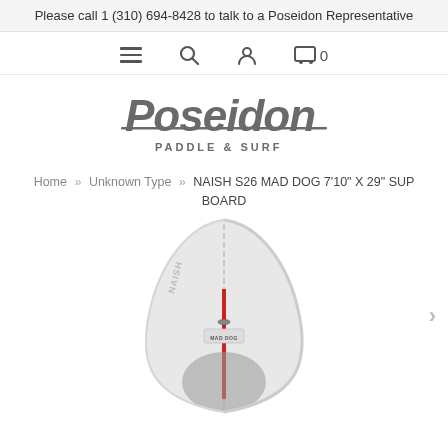Please call 1 (310) 694-8428 to talk to a Poseidon Representative
[Figure (logo): Poseidon Paddle & Surf logo in dark grey stylized script text]
Home » Unknown Type » NAISH S26 MAD DOG 7'10" X 29" SUP BOARD
[Figure (photo): Top-down view of a white and grey SUP board (NAISH S26 Mad Dog 7'10" x 29") with red accents, a central stringer line, handle, and grey traction pad visible]